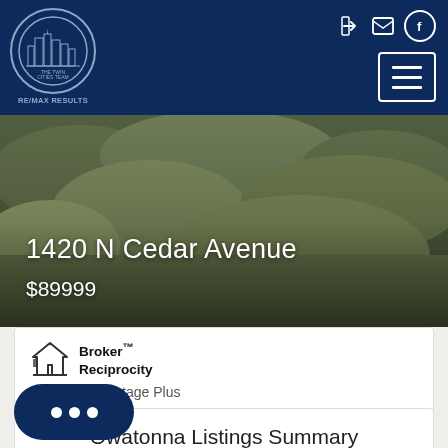[Figure (logo): RE/MAX Results Twin Cities Team logo in circular badge with city skyline illustration]
[Figure (photo): Aerial/landscape photo of property at 1420 N Cedar Avenue showing green vegetation]
1420 N Cedar Avenue
$89999
[Figure (logo): Broker Reciprocity house logo icon]
Broker™
Reciprocity
Re/Max Advantage Plus
Owatonna Listings Summary
Total: 188